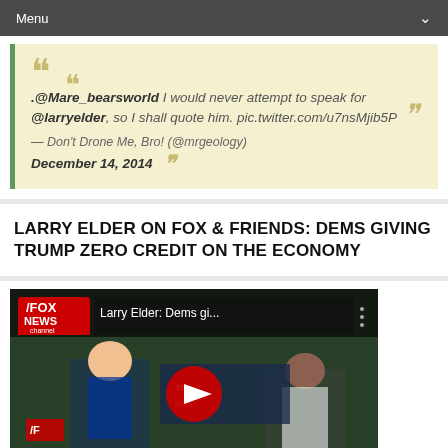Menu
.@Mare_bearsworld I would never attempt to speak for @larryelder, so I shall quote him. pic.twitter.com/u7nsMjib5P — Don't Drone Me, Bro! (@mrgeology) December 14, 2014
LARRY ELDER ON FOX & FRIENDS: DEMS GIVING TRUMP ZERO CREDIT ON THE ECONOMY
[Figure (screenshot): YouTube video thumbnail showing Larry Elder on Fox News channel with title 'Larry Elder: Dems gi...' and a red play button overlay over two people on screen]